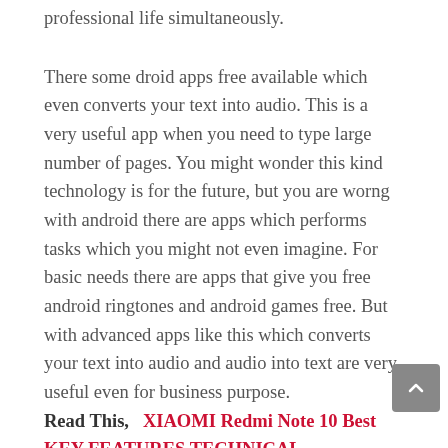professional life simultaneously.
There some droid apps free available which even converts your text into audio. This is a very useful app when you need to type large number of pages. You might wonder this kind technology is for the future, but you are worng with android there are apps which performs tasks which you might not even imagine. For basic needs there are apps that give you free android ringtones and android games free. But with advanced apps like this which converts your text into audio and audio into text are very useful even for business purpose.
Read This,  XIAOMI Redmi Note 10 Best KEY FEATURES TECHNICAL SPECIFICATIONS, Available In Kenya Price Review.
These kind of apps are very helpful when driving or while you are having a jog. When you get a message during this time you need not to stop and have a look at your android